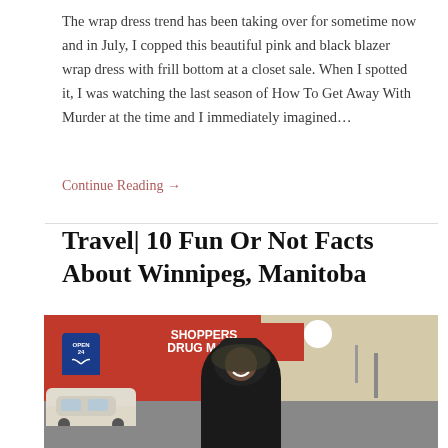The wrap dress trend has been taking over for sometime now and in July, I copped this beautiful pink and black blazer wrap dress with frill bottom at a closet sale. When I spotted it, I was watching the last season of How To Get Away With Murder at the time and I immediately imagined...
Continue Reading →
Travel| 10 Fun Or Not Facts About Winnipeg, Manitoba
[Figure (photo): A smiling woman in a winter jacket with fur-trimmed hood standing in front of a Shoppers Drug Mart store in Winnipeg, Manitoba. A white SUV is parked nearby, and the parking lot and overcast sky are visible in the background.]